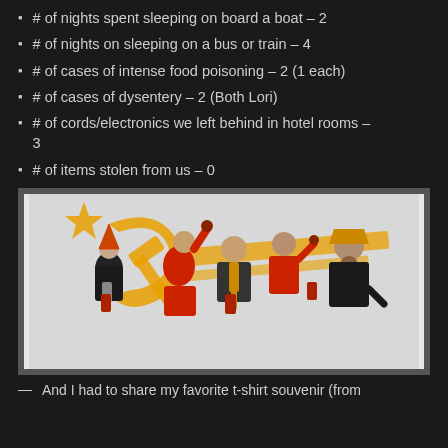# of nights spent sleeping on board a boat – 2
# of nights on sleeping on a bus or train – 4
# of cases of intense food poisoning – 2 (1 each)
# of cases of dysentery – 2 (Both Lori)
# of cords/electronics we left behind in hotel rooms – 3
# of items stolen from us – 0
[Figure (illustration): Humorous illustration on a t-shirt showing caricatures of communist leaders (Stalin, Lenin, Mao, Marx) at a party with beer cans, wearing party hats and lampshades, against a background of hammer and sickle symbol in orange/yellow on a light grey background.]
And I had to share my favorite t-shirt souvenir (from